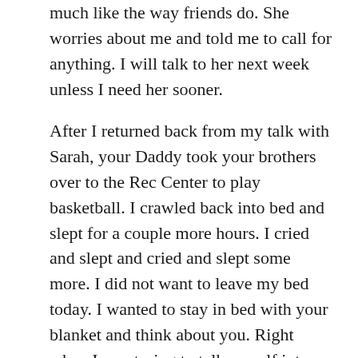much like the way friends do. She worries about me and told me to call for anything. I will talk to her next week unless I need her sooner.
After I returned back from my talk with Sarah, your Daddy took your brothers over to the Rec Center to play basketball. I crawled back into bed and slept for a couple more hours. I cried and slept and cried and slept some more. I did not want to leave my bed today. I wanted to stay in bed with your blanket and think about you. Right when I was trying to talk myself into getting out of bed, Mr. Sparkly Eyes called. I swear it is always you who tells him to call when I need a good kick in the ass. As soon as I answered he asked what was wrong. I told him, nothing, but everything. He asked if I was o.k. and then said he knows I'm not, that I'm hurting like hell. I cried for the few minutes that I talked to him but he then made me laugh by asking me if I was